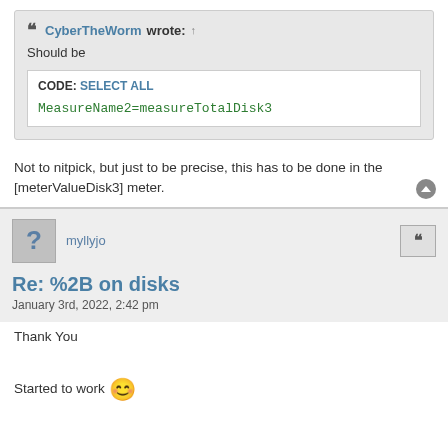CyberTheWorm wrote: ↑
Should be
CODE: SELECT ALL
MeasureName2=measureTotalDisk3
Not to nitpick, but just to be precise, this has to be done in the [meterValueDisk3] meter.
myllyjo
Re: %2B on disks
January 3rd, 2022, 2:42 pm
Thank You
Started to work 😊